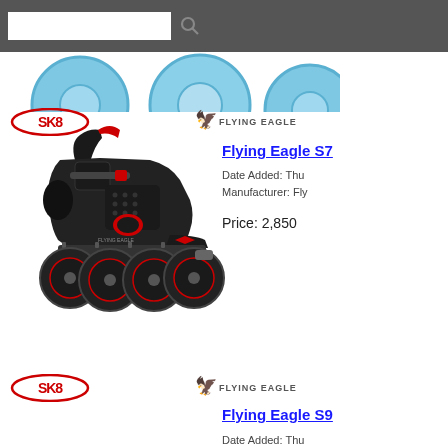[Figure (screenshot): Navigation/search bar with white input field and search icon on grey background]
[Figure (photo): Blue inline skate wheels - partial view, cyan/light blue color]
[Figure (logo): SK8 logo in red]
[Figure (logo): Flying Eagle logo with eagle icon]
Flying Eagle S7
Date Added: Thu
Manufacturer: Fly
Price: 2,850
[Figure (photo): Black and red inline skate / rollerblade shoe - Flying Eagle S7 model]
[Figure (logo): SK8 logo in red]
[Figure (logo): Flying Eagle logo with eagle icon]
Flying Eagle S9
Date Added: Thu